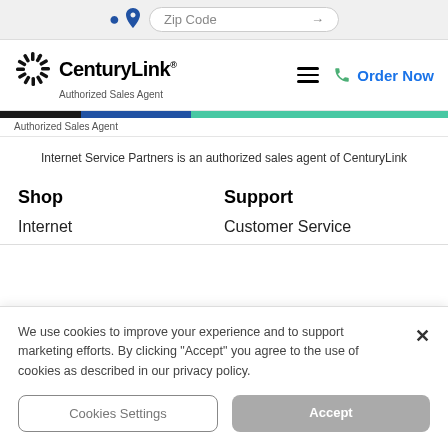[Figure (screenshot): Zip Code input bar with location pin icon and arrow button]
[Figure (logo): CenturyLink Authorized Sales Agent logo with sunburst icon]
Authorized Sales Agent
[Figure (infographic): Three-color horizontal stripe: black, blue, teal/green]
Authorized Sales Agent
Internet Service Partners is an authorized sales agent of CenturyLink
Shop
Support
Internet
Customer Service
We use cookies to improve your experience and to support marketing efforts. By clicking "Accept" you agree to the use of cookies as described in our privacy policy.
Cookies Settings
Accept